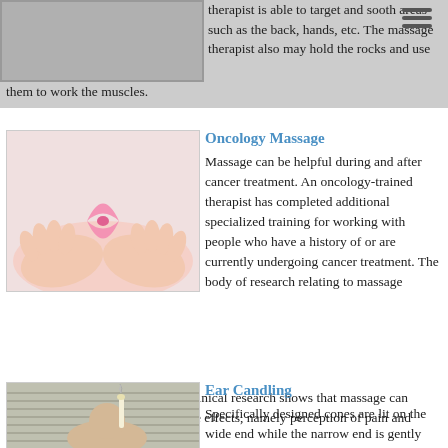therapist is able to target and sooth areas such as the back, hands, etc. The massage therapist also may hold the rocks and use them to work the muscles.
[Figure (photo): Hands holding a pink cancer awareness ribbon - oncology massage illustration]
Oncology Massage
Massage can be helpful during and after cancer treatment. An oncology-trained therapist has completed additional specialized training for working with people who have a history of or are currently undergoing cancer treatment. The body of research relating to massage and cancer is small but growing. Clinical research shows that massage can improve some cancer treatment side effects, namely perception of pain and anxiety.
Massage benefits can include: reduced pain and fatigue, decreased anxiety, less nausea, improved sleep, eased isolation, enhanced body image, greater sense of well-being.
[Figure (photo): Person receiving ear candling treatment]
Ear Candling
Specifically designed cones are lit on the wide end while the narrow end is gently inserted into the ear. The heat and smoke